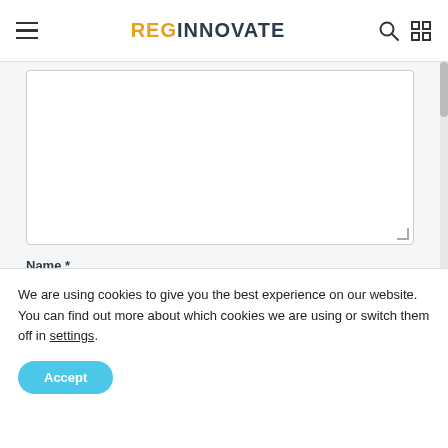REGINNOVATE
[Figure (screenshot): A web form with a large textarea (comment/message box), a Name field with label 'Name *', and a partially visible Email field with label 'Email *']
Name *
Email *
We are using cookies to give you the best experience on our website.
You can find out more about which cookies we are using or switch them off in settings.
Accept